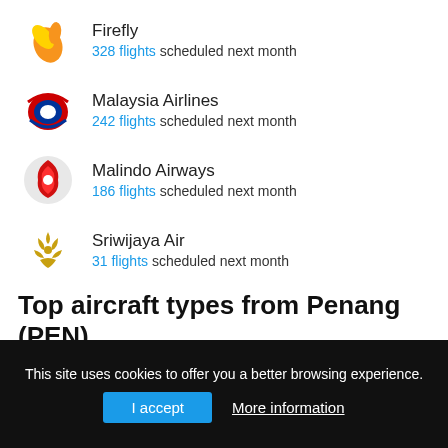Firefly — 328 flights scheduled next month
Malaysia Airlines — 242 flights scheduled next month
Malindo Airways — 186 flights scheduled next month
Sriwijaya Air — 31 flights scheduled next month
Top aircraft types from Penang (PEN)
The most common aircrafts in our database
1 — Airbus A31X/32X — 590 flights with this aircraft type next month
2 — ATR 72/42 — 514 flights with this aircraft type next month
275 flights with this aircraft type next month
This site uses cookies to offer you a better browsing experience.